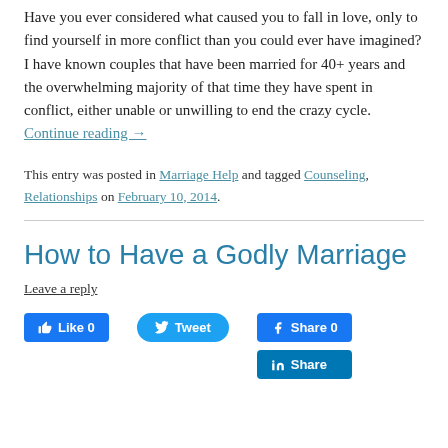Have you ever considered what caused you to fall in love, only to find yourself in more conflict than you could ever have imagined? I have known couples that have been married for 40+ years and the overwhelming majority of that time they have spent in conflict, either unable or unwilling to end the crazy cycle. Continue reading →
This entry was posted in Marriage Help and tagged Counseling, Relationships on February 10, 2014.
How to Have a Godly Marriage
Leave a reply
Like 0   Tweet   Share 0   Share